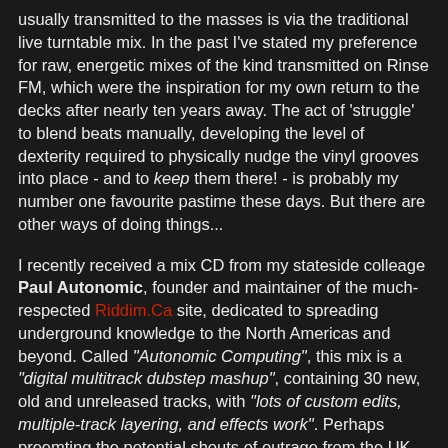usually transmitted to the masses is via the traditional live turntable mix. In the past I've stated my preference for raw, energetic mixes of the kind transmitted on Rinse FM, which were the inspiration for my own return to the decks after nearly ten years away. The act of 'struggle' to blend beats manually, developing the level of dexterity required to physically nudge the vinyl grooves into place - and to keep them there! - is probably my number one favourite pastime these days. But there are other ways of doing things...
I recently received a mix CD from my stateside colleage Paul Autonomic, founder and maintainer of the much-respected Riddim.Ca site, dedicated to spreading underground knowledge to the North Americas and beyond. Called "Autonomic Computing", this mix is a "digital multitrack dubstep mashup", containing 30 new, old and unreleased tracks, with "lots of custom edits, multiple-track layering, and effects work". Perhaps preemting the potential shouts of outrage from the UK purists, Paul states in the accompanying sleeve notes, "Digi-mixing might seem antithetical to a dubplate-centric scene, but from overseas it just seems natural. That's how it got here in the first place.